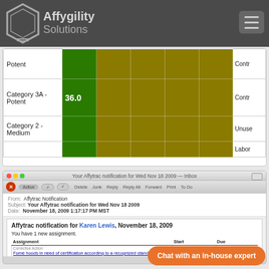Affygility Solutions
[Figure (screenshot): Partial view of a data grid/table with colored cells (green and olive/yellow-green) showing categories: Potent, Category 3A - Potent, Category 2 - Medium. Category 3A - Potent shows value 36.0. Right side shows truncated labels: Contr, Contr, Unuse, Labor.]
[Figure (screenshot): Email notification screenshot from Affytrac showing: From: Affytrac Notification, Subject: Your Affytrac notification for Wed Nov 18 2009, Date: November 18, 2009 1:17:17 PM MST. Inner email content: Affytrac notification for Karen Lewis, November 18, 2009. You have 1 new assignment. Assignment table with Corrective Action: Fume hoods in need of certification according to a recognized standard (Start: Wed Nov 18 2009, Due: Tue Nov 24 2009). You have 1 assignment due today. Task Assignment: Monthly Radiation Swipe Test (Start: Sun Nov 15 2009, Due: Wed Nov 18 2009). Footer: To adjust your preferences for Affytrac notifications, visit your Affytrac profile.]
Chat with an in-house expert